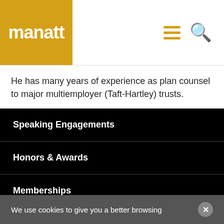manatt
He has many years of experience as plan counsel to major multiemployer (Taft-Hartley) trusts.
Speaking Engagements
Honors & Awards
Memberships
Publications
Don in the News
We use cookies to give you a better browsing